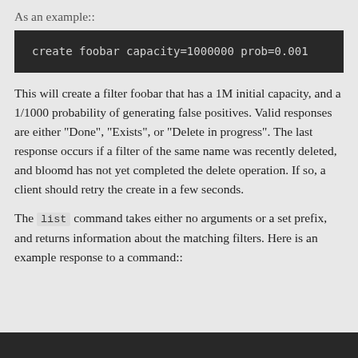As an example::
create foobar capacity=1000000 prob=0.001
This will create a filter foobar that has a 1M initial capacity, and a 1/1000 probability of generating false positives. Valid responses are either "Done", "Exists", or "Delete in progress". The last response occurs if a filter of the same name was recently deleted, and bloomd has not yet completed the delete operation. If so, a client should retry the create in a few seconds.
The list command takes either no arguments or a set prefix, and returns information about the matching filters. Here is an example response to a command::